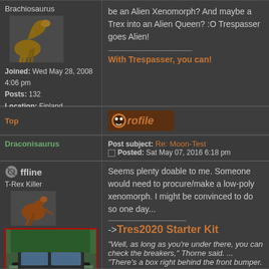Brachiosaurus
Joined: Wed May 28, 2008 4:06 pm
Posts: 132
Location: Finland
be an Alien Xenomorph? And maybe a Trex into an Alien Queen? :O Trespasser goes Alien!
With Trespasser, you can!
Top
[Figure (logo): Profile badge with dinosaur icon]
Draconisaurus
Post subject: Re: Moon-Test
Posted: Sat May 07, 2016 6:18 pm
Offline
T-Rex Killer
Joined: Mon Dec 06, 2004 5:21 PM
Seems plenty doable to me. Someone would need to procure/make a low-poly xenomorph. I might be convinced to do so one day...
->Tres2020 Starter Kit
"Well, as long as you're under there, you can check the breakers," Thorne said. ... "There's a box right behind the front bumper. Over on the left."